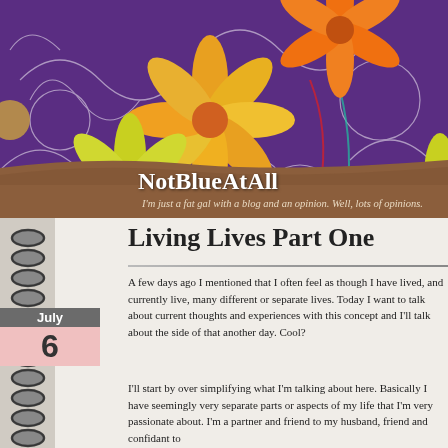[Figure (illustration): Blog header banner with purple floral/botanical decorative background, orange and yellow flowers, white swirling line art. Contains site navigation sticky notes labeled SEARCH, HOME, ABOUT, and a brown torn-paper strip overlay with site name and tagline.]
NotBlueAtAll
I'm just a fat gal with a blog and an opinion. Well, lots of opinions.
Living Lives Part One
July 6
A few days ago I mentioned that I often feel as though I have lived, and currently live, many different or separate lives. Today I want to talk about current thoughts and experiences with this concept and I'll talk about the side of that another day. Cool?
I'll start by over simplifying what I'm talking about here. Basically I have seemingly very separate parts or aspects of my life that I'm very passionate about. I'm a partner and friend to my husband, friend and confidant to